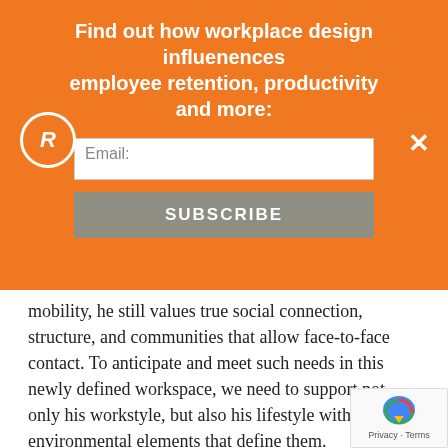Find out how workplace design influenences employee retention, productivity and more:
mobility, he still values true social connection, structure, and communities that allow face-to-face contact. To anticipate and meet such needs in this newly defined workspace, we need to support not only his workstyle, but also his lifestyle with the environmental elements that define them.
We can do this by applying a few basic planning principles:
1. The “office” must serve as a platform for knowledge and collaboration.
2. Create articulation within the architecture...